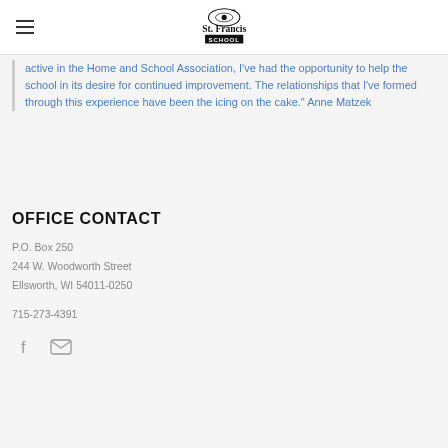St. Francis School
active in the Home and School Association, I've had the opportunity to help the school in its desire for continued improvement. The relationships that I've formed through this experience have been the icing on the cake." Anne Matzek
OFFICE CONTACT
P.O. Box 250
244 W. Woodworth Street
Ellsworth, WI 54011-0250
715-273-4391
[Figure (other): Facebook icon and email envelope icon]